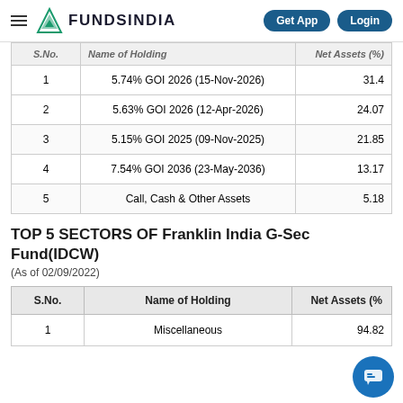FUNDSINDIA | Get App | Login
| S.No. | Name of Holding | Net Assets (%) |
| --- | --- | --- |
| 1 | 5.74% GOI 2026 (15-Nov-2026) | 31.4 |
| 2 | 5.63% GOI 2026 (12-Apr-2026) | 24.07 |
| 3 | 5.15% GOI 2025 (09-Nov-2025) | 21.85 |
| 4 | 7.54% GOI 2036 (23-May-2036) | 13.17 |
| 5 | Call, Cash & Other Assets | 5.18 |
TOP 5 SECTORS OF Franklin India G-Sec Fund(IDCW)
(As of 02/09/2022)
| S.No. | Name of Holding | Net Assets (%) |
| --- | --- | --- |
| 1 | Miscellaneous | 94.82 |